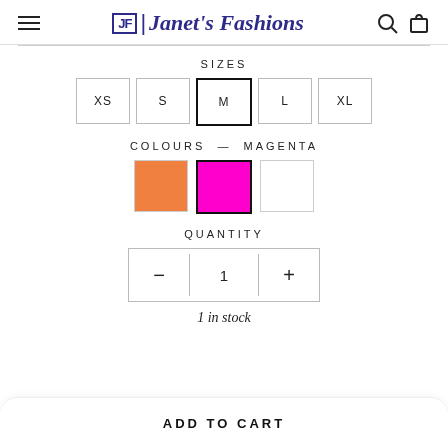JF | Janet's Fashions
SIZES
XS  S  M  L  XL
COLOURS — MAGENTA
[Figure (other): Three colour swatches: orange, magenta (selected), white]
QUANTITY
— 1 +
1 in stock
ADD TO CART